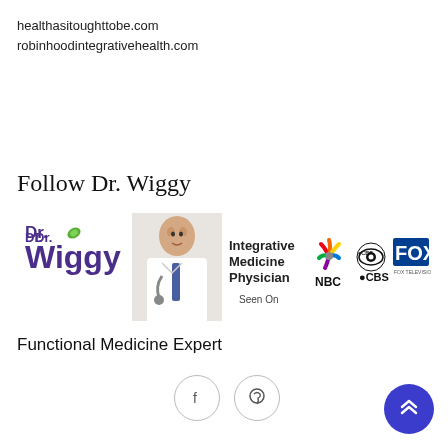healthasitoughttobe.com
robinhoodintegrativehealth.com
Follow Dr. Wiggy
[Figure (logo): Dr. Wiggy banner showing Dr. Wiggy logo, photo of doctor with stethoscope, text 'Integrative Medicine Physician Seen On', NBC, CBS, and FOX Television logos]
Functional Medicine Expert
[Figure (other): Social media icons: Facebook and Pinterest circle buttons]
[Figure (other): Back to top blue circle button with double chevron up arrow]